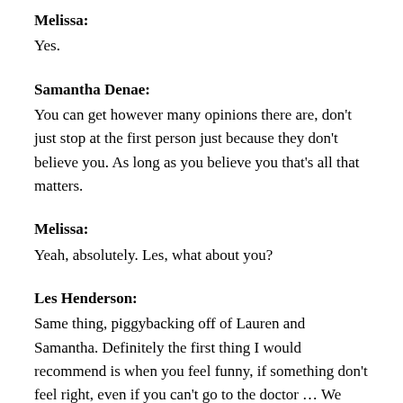Melissa:
Yes.
Samantha Denae:
You can get however many opinions there are, don't just stop at the first person just because they don't believe you. As long as you believe you that's all that matters.
Melissa:
Yeah, absolutely. Les, what about you?
Les Henderson:
Same thing, piggybacking off of Lauren and Samantha. Definitely the first thing I would recommend is when you feel funny, if something don't feel right, even if you can't go to the doctor … We know there's issues out